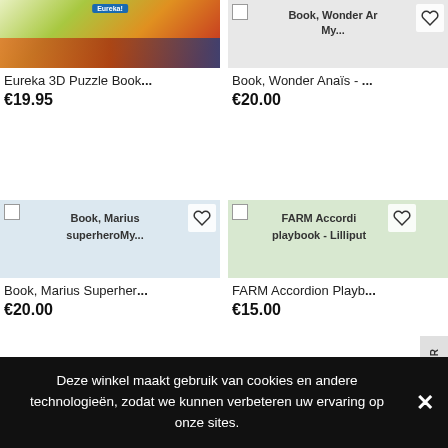[Figure (screenshot): Product listing grid showing books and puzzles with prices. Top-left: Eureka 3D Puzzle Book image. Top-right: Book, Wonder Anaïs image with heart icon. Middle-left: Book, Marius Superher... card. Middle-right: FARM Accordion Playb... card. Bottom partial: I learn shapes and JUNGLE Accord cards.]
Eureka 3D Puzzle Book...
€19.95
Book, Wonder Anaïs - ...
€20.00
Book, Marius Superher...
€20.00
FARM Accordion Playb...
€15.00
I learn shapes
JUNGLE Accord
Deze winkel maakt gebruik van cookies en andere technologieën, zodat we kunnen verbeteren uw ervaring op onze sites.